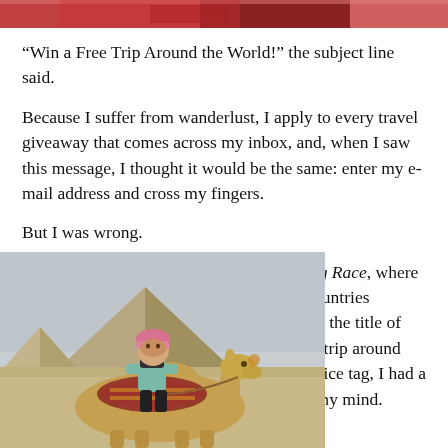[Figure (photo): Top strip showing partial image of red/colorful objects, cropped at top of page]
“Win a Free Trip Around the World!” the subject line said.
Because I suffer from wanderlust, I apply to every travel giveaway that comes across my inbox, and, when I saw this message, I thought it would be the same: enter my e-mail address and cross my fingers.
But I was wrong.
This was an event, a little like The Amazing Race, where 15 two-person teams are sent to 10-plus countries completing hundreds of scavenges to claim the title of “World’s Best Traveler.” The prize? A free trip around the world, the next year. When I saw the price tag, I had a minor stroke, and I put the thought out of my mind.
[Figure (photo): Woman wearing pink hat and teal long-sleeve shirt sitting on a camel in front of the Pyramids of Giza, Egypt]